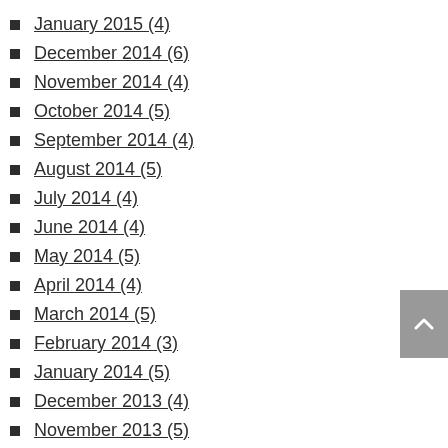January 2015 (4)
December 2014 (6)
November 2014 (4)
October 2014 (5)
September 2014 (4)
August 2014 (5)
July 2014 (4)
June 2014 (4)
May 2014 (5)
April 2014 (4)
March 2014 (5)
February 2014 (3)
January 2014 (5)
December 2013 (4)
November 2013 (5)
October 2013 (4)
September 2013 (4)
August 2013 (5)
July 2013 (4)